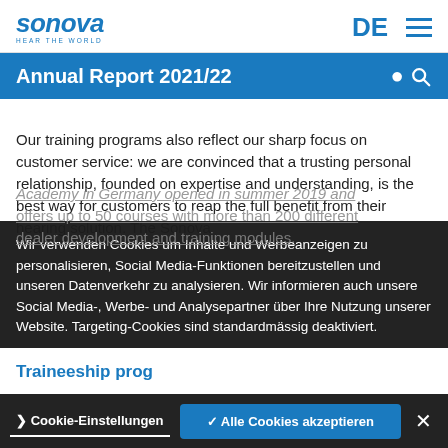[Figure (logo): Sonova 'HEAR THE WORLD' logo in blue, top left]
DE ☰
Annual Report 2021/22
Our training programs also reflect our sharp focus on customer service: we are convinced that a trusting personal relationship, founded on expertise and understanding, is the best way for customers to reap the full benefit from their hearing solution. The Sonova Academy in Germany opened in summer 2019 and offers up to 50 courses with more than 200 different dealer development and training modules.
Wir verwenden Cookies um Inhalte und Werbeanzeigen zu personalisieren, Social Media-Funktionen bereitzustellen und unseren Datenverkehr zu analysieren. Wir informieren auch unsere Social Media-, Werbe- und Analysepartner über Ihre Nutzung unserer Website. Targeting-Cookies sind standardmässig deaktiviert.
Traineeship prog
Cookie-Einstellungen   ✓ Alle Cookies akzeptieren  ×